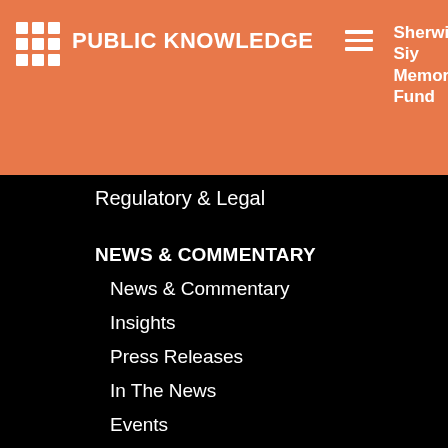PUBLIC KNOWLEDGE | Sherwin Siy Memorial Fund | Donate
Regulatory & Legal
NEWS & COMMENTARY
News & Commentary
Insights
Press Releases
In The News
Events
Action Center
PKTHINKS
PKTRAINS